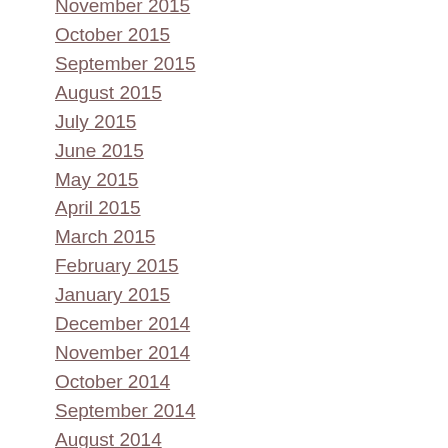November 2015
October 2015
September 2015
August 2015
July 2015
June 2015
May 2015
April 2015
March 2015
February 2015
January 2015
December 2014
November 2014
October 2014
September 2014
August 2014
July 2014
May 2014
April 2014